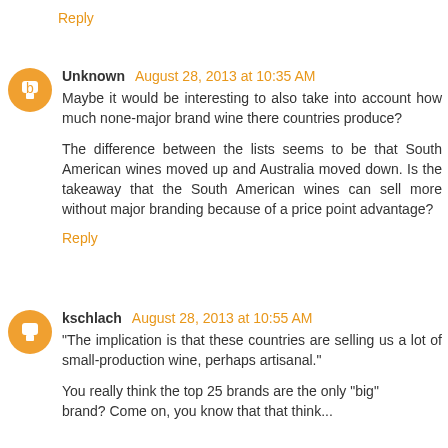Reply
Unknown August 28, 2013 at 10:35 AM
Maybe it would be interesting to also take into account how much none-major brand wine there countries produce?

The difference between the lists seems to be that South American wines moved up and Australia moved down. Is the takeaway that the South American wines can sell more without major branding because of a price point advantage?
Reply
kschlach August 28, 2013 at 10:55 AM
"The implication is that these countries are selling us a lot of small-production wine, perhaps artisanal."

You really think the top 25 brands are the only "big" brand? Come on, you know that that think...